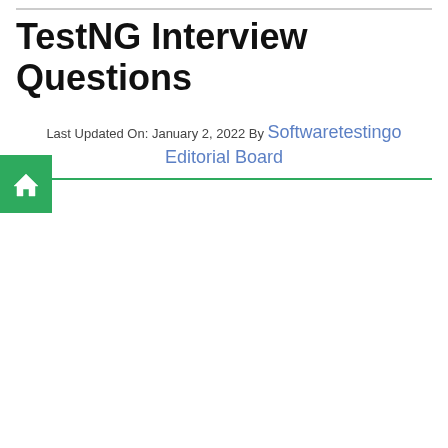TestNG Interview Questions
Last Updated On: January 2, 2022 By Softwaretestingo Editorial Board